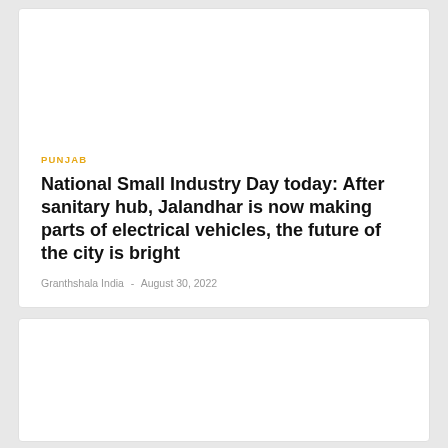PUNJAB
National Small Industry Day today: After sanitary hub, Jalandhar is now making parts of electrical vehicles, the future of the city is bright
Granthshala India  -  August 30, 2022